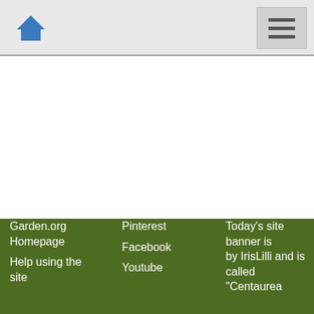Home | Menu
Garden.org Homepage
Help using the site
Pinterest
Facebook
Youtube
Today's site banner is by IrisLilli and is called "Centaurea